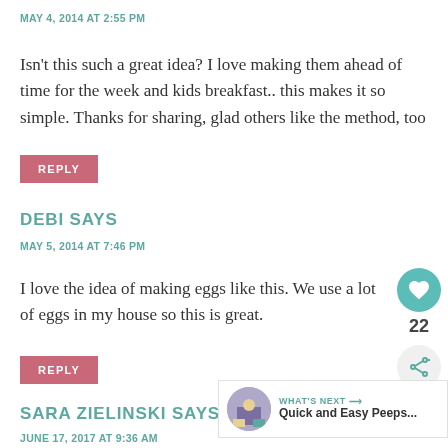MAY 4, 2014 AT 2:55 PM
Isn't this such a great idea? I love making them ahead of time for the week and kids breakfast.. this makes it so simple. Thanks for sharing, glad others like the method, too
REPLY
DEBI SAYS
MAY 5, 2014 AT 7:46 PM
I love the idea of making eggs like this. We use a lot of eggs in my house so this is great.
REPLY
SARA ZIELINSKI SAYS
JUNE 17, 2017 AT 9:36 AM